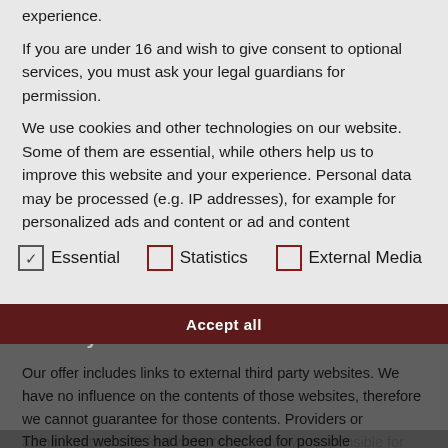experience.
If you are under 16 and wish to give consent to optional services, you must ask your legal guardians for permission.
We use cookies and other technologies on our website. Some of them are essential, while others help us to improve this website and your experience. Personal data may be processed (e.g. IP addresses), for example for personalized ads and content or ad and content measurement. You can find more information about the use of your data in our
Essential
Statistics
External Media
Liability for Links
Our offer includes links to external third party websites. We have no influence on the contents of those websites, therefore we cannot guarantee for those contents. Providers or administrators of linked websites are always responsible for their own contents.
The linked websites had been checked for possible